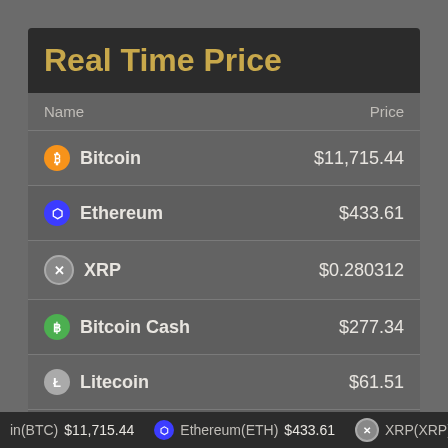Real Time Price
| Name | Price |
| --- | --- |
| Bitcoin | $11,715.44 |
| Ethereum | $433.61 |
| XRP | $0.280312 |
| Bitcoin Cash | $277.34 |
| Litecoin | $61.51 |
| EOS | $3.24 |
| TRON | $0.029277 |
Bitcoin(BTC) $11,715.44   Ethereum(ETH) $433.61   XRP(XRP) $0...